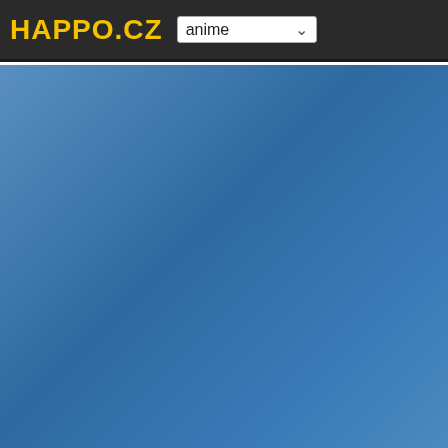HAPPO.CZ — anime dropdown
| # | Name |
| --- | --- |
| 3. | Cabbage (3) |
| 4. | Cabbage (4) |
| 5. | Cabbage (5) |
| 6. | Eggs (1) |
| 7. | Eggs (2) |
| 8. | Eggs (3) |
| 9. | Eggs (4) |
| 10. | Eggs (5) |
| 11. | Sweets (1) |
| 12. | Sweets (2) |
| 13. | Sweets (3) |
| 14. | Sweets (4) |
| 15. | Sweets (5) |
| 16. | Rice (1) |
| 17. | Rice (2) |
| 18. | Rice (3) |
| 19. | Rice (4) |
| 20. | Rice (5) |